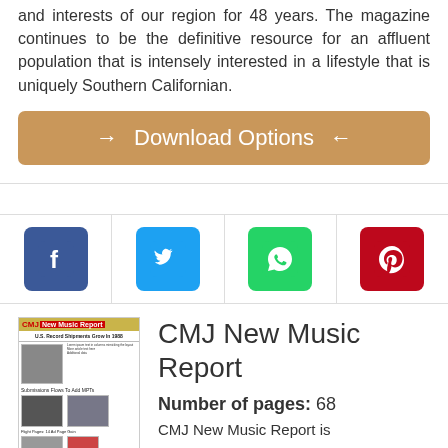and interests of our region for 48 years. The magazine continues to be the definitive resource for an affluent population that is intensely interested in a lifestyle that is uniquely Southern Californian.
[Figure (other): Download Options button with arrows on golden-tan background]
[Figure (other): Social media icons row: Facebook (blue), Twitter (light blue), WhatsApp (green), Pinterest (red)]
[Figure (other): Thumbnail of CMJ New Music Report magazine cover]
CMJ New Music Report
Number of pages: 68
CMJ New Music Report is